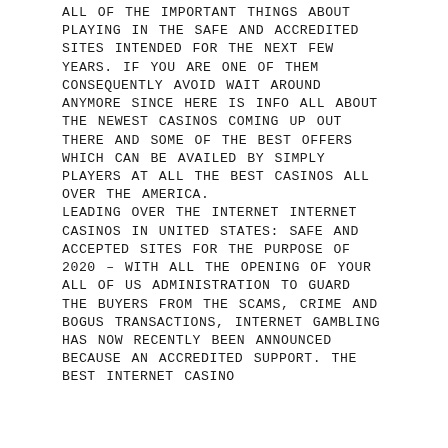ALL OF THE IMPORTANT THINGS ABOUT PLAYING IN THE SAFE AND ACCREDITED SITES INTENDED FOR THE NEXT FEW YEARS. IF YOU ARE ONE OF THEM CONSEQUENTLY AVOID WAIT AROUND ANYMORE SINCE HERE IS INFO ALL ABOUT THE NEWEST CASINOS COMING UP OUT THERE AND SOME OF THE BEST OFFERS WHICH CAN BE AVAILED BY SIMPLY PLAYERS AT ALL THE BEST CASINOS ALL OVER THE AMERICA. LEADING OVER THE INTERNET INTERNET CASINOS IN UNITED STATES: SAFE AND ACCEPTED SITES FOR THE PURPOSE OF 2020 – WITH ALL THE OPENING OF YOUR ALL OF US ADMINISTRATION TO GUARD THE BUYERS FROM THE SCAMS, CRIME AND BOGUS TRANSACTIONS, INTERNET GAMBLING HAS NOW RECENTLY BEEN ANNOUNCED BECAUSE AN ACCREDITED SUPPORT. THE BEST INTERNET CASINO